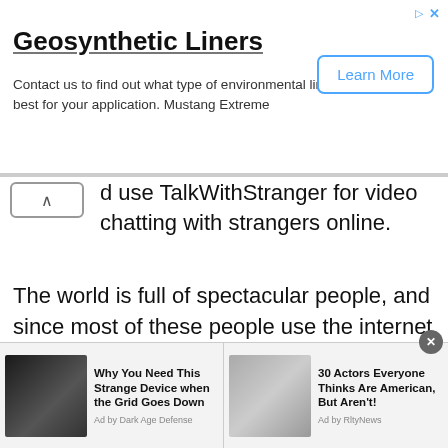[Figure (screenshot): Advertisement banner for Geosynthetic Liners with a Learn More button]
Geosynthetic Liners
Contact us to find out what type of environmental liner is best for your application. Mustang Extreme
d use TalkWithStranger for video chatting with strangers online.
The world is full of spectacular people, and since most of these people use the internet, it is a brilliant idea to connect them through talkwithstranger chat site. Whether you are looking for a romantic relationship, making online friends, or improving your social skills, the best platform for Tanzanian Chat Line is talkwithstranger.
There are more than 800,000 monthly users for
[Figure (screenshot): Bottom ad bar with two sponsored content items: 'Why You Need This Strange Device when the Grid Goes Down' by Dark Age Defense and '30 Actors Everyone Thinks Are American, But Aren't!' by RltyNews]